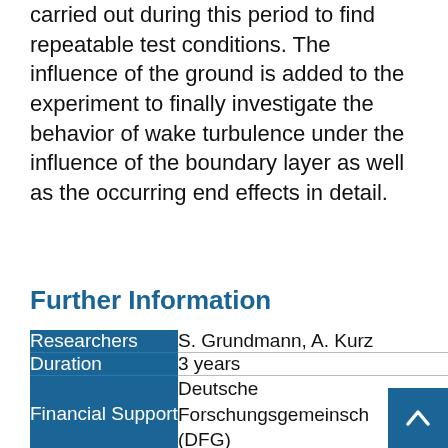carried out during this period to find repeatable test conditions. The influence of the ground is added to the experiment to finally investigate the behavior of wake turbulence under the influence of the boundary layer as well as the occurring end effects in detail.
back to top
Further Information
|  |  |
| --- | --- |
| Researchers | S. Grundmann, A. Kurz |
| Duration | 3 years |
| Financial Support | Deutsche Forschungsgemeinsch (DFG) |